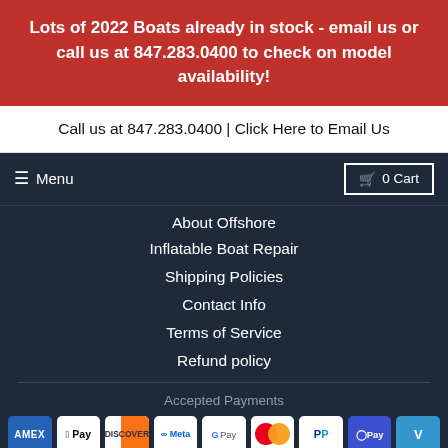Lots of 2022 Boats already in stock - email us or call us at 847.283.0400 to check on model availability!
Call us at 847.283.0400 | Click Here to Email Us
Menu
0 Cart
About Offshore
Inflatable Boat Repair
Shipping Policies
Contact Info
Terms of Service
Refund policy
Accepted Payments
[Figure (other): Accepted payment method icons: American Express, Apple Pay, Discover, Meta Pay, Google Pay, Mastercard, PayPal, Samsung Pay, Venmo, Visa]